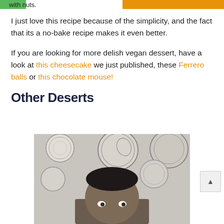with nuts.
I just love this recipe because of the simplicity, and the fact that its a no-bake recipe makes it even better.
If you are looking for more delish vegan dessert, have a look at this cheesecake we just published, these Ferrero balls or this chocolate mouse!
Other Deserts
[Figure (photo): A person looking upward at the camera with blue and white decorative plates mounted on a gray wall behind them.]